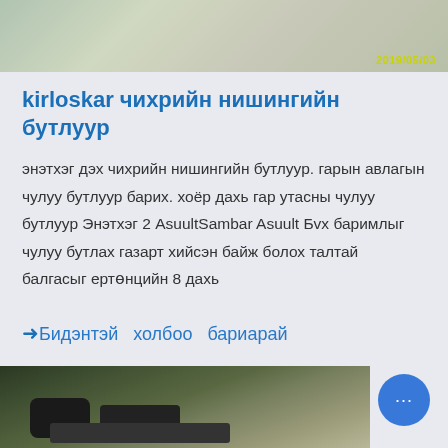[Figure (photo): Top image showing sandy/gravelly terrain with construction equipment partially visible, timestamp 2019/05/03]
kirloskar чихрийн нишингийн бутлуур
энэтхэг дэх чихрийн нишингийн бутлуур. гарын авлагын чулуу бутлуур барих. хоёр дахь гар утасны чулуу бутлуур Энэтхэг 2 AsuultSambar Asuult Бvх баримлыг чулуу бутлах газарт хийсэн байж болох талтай балгасыг ертөнцийн 8 дахь
➜Бидэнтэй  холбоо  бариарай
[Figure (photo): Bottom image showing industrial crusher machinery with rubber/plastic tubes and gravel in outdoor setting]